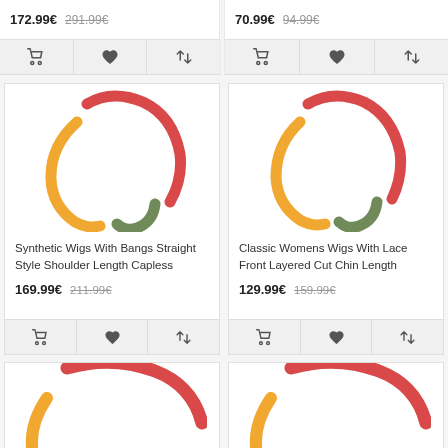172.99€  291.99€
70.99€  94.99€
[Figure (illustration): Wig product illustration with colored arcs in red, orange, and green forming a circular shape]
Synthetic Wigs With Bangs Straight Style Shoulder Length Capless
169.99€  211.99€
[Figure (illustration): Wig product illustration with colored arcs in red, orange, and green forming a circular shape]
Classic Womens Wigs With Lace Front Layered Cut Chin Length
129.99€  159.99€
[Figure (illustration): Partial wig product illustration showing top red arc]
[Figure (illustration): Partial wig product illustration showing top red arc]